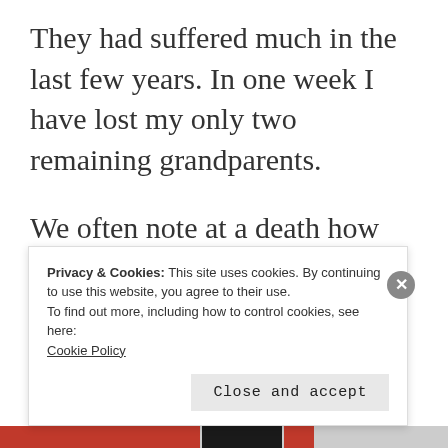They had suffered much in the last few years. In one week I have lost my only two remaining grandparents.
We often note at a death how great and noble the person was. How they will be dearly missed. How
Privacy & Cookies: This site uses cookies. By continuing to use this website, you agree to their use.
To find out more, including how to control cookies, see here:
Cookie Policy
Close and accept